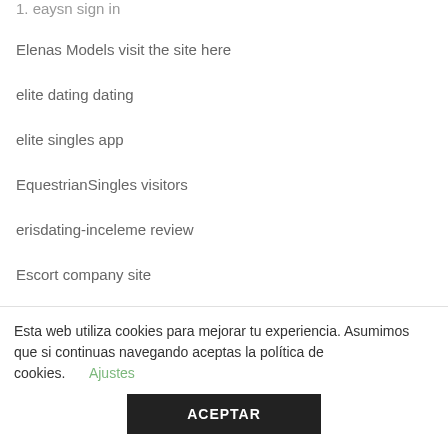Elenas Models visit the site here
elite dating dating
elite singles app
EquestrianSingles visitors
erisdating-inceleme review
Escort company site
express payday loan
Esta web utiliza cookies para mejorar tu experiencia. Asumimos que si continuas navegando aceptas la política de cookies. Ajustes ACEPTAR